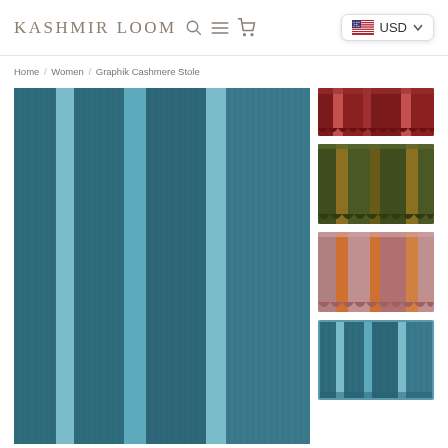Kashmir Loom — navigation with search, menu, cart icons and USD currency selector
Home / Women / Graphik Cashmere Stole
[Figure (photo): Close-up of a teal/blue cashmere stole with vertical stripe pattern showing different shades of teal and lighter blue stripes]
[Figure (photo): Thumbnail: red-toned cashmere stole with scalloped hem]
[Figure (photo): Thumbnail: olive green and gold/brown cashmere stole with scalloped hem]
[Figure (photo): Thumbnail: pink/mauve and orange cashmere stole with scalloped hem]
[Figure (photo): Thumbnail: teal/blue cashmere stole — selected, matching main image]